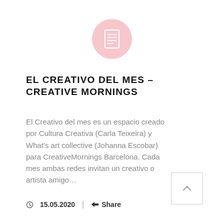[Figure (illustration): Pink circle with a white document/list icon in the center]
EL CREATIVO DEL MES – CREATIVE MORNINGS
El Creativo del mes es un espacio creado por Cultura Creativa (Carla Teixeira) y What's art collective (Johanna Escobar) para CreativeMornings Barcelona. Cada mes ambas redes invitan un creativo o artista amigo…
© 15.05.2020  |  < Share